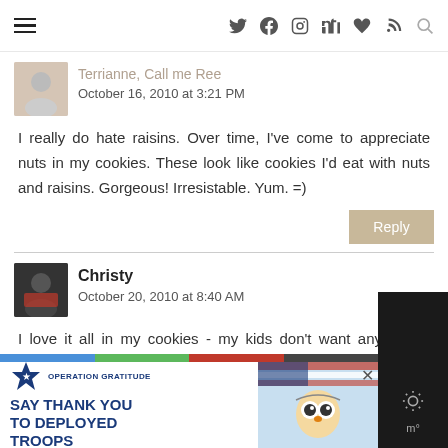Navigation bar with hamburger menu and social icons
Terrianne, Call me Ree
October 16, 2010 at 3:21 PM
I really do hate raisins. Over time, I've come to appreciate nuts in my cookies. These look like cookies I'd eat with nuts and raisins. Gorgeous! Irresistable. Yum. =)
Christy
October 20, 2010 at 8:40 AM
I love it all in my cookies - my kids don't want any nuts - goofballs. So, unless I am sharing them with other people, sadly we are nut free. I would love one of these cookies with a cup of coffee.
[Figure (infographic): Operation Gratitude ad banner: SAY THANK YOU TO DEPLOYED TROOPS with star logo and owl mascot]